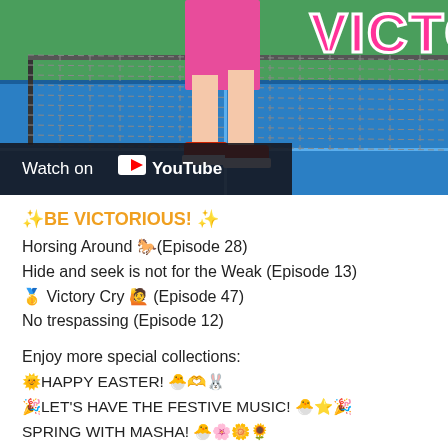[Figure (screenshot): YouTube video thumbnail showing an animated character (legs with red sneakers and pink skirt) on a blue tennis court with a net. A 'Watch on YouTube' overlay bar appears at the bottom left. Partial pink 'VICTO' logo text visible at top right.]
✨BE VICTORIOUS! ✨
Horsing Around 🐎(Episode 28)
Hide and seek is not for the Weak (Episode 13)
🥇 Victory Cry 🙋 (Episode 47)
No trespassing (Episode 12)
Enjoy more special collections:
🌞HAPPY EASTER! 🐣🫶🐰
🎉LET'S HAVE THE FESTIVE MUSIC! 🐣⭐🎉
SPRING WITH MASHA! 🐣🌸🌼🌻